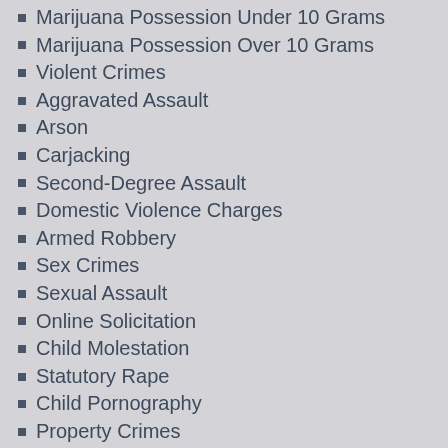Marijuana Possession Under 10 Grams
Marijuana Possession Over 10 Grams
Violent Crimes
Aggravated Assault
Arson
Carjacking
Second-Degree Assault
Domestic Violence Charges
Armed Robbery
Sex Crimes
Sexual Assault
Online Solicitation
Child Molestation
Statutory Rape
Child Pornography
Property Crimes
Theft
Auto Theft
Employee Theft
Juvenile Defense